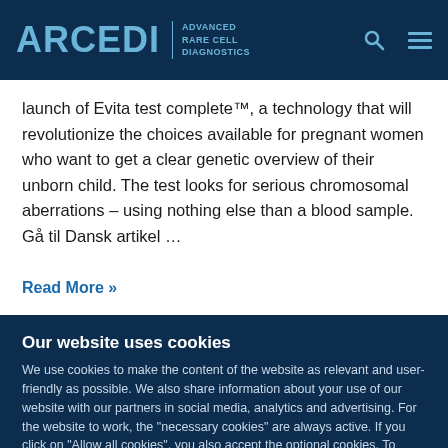ARCEDI ADVANCED RARE CELL DIAGNOSTICS
launch of Evita test complete™, a technology that will revolutionize the choices available for pregnant women who want to get a clear genetic overview of their unborn child. The test looks for serious chromosomal aberrations – using nothing else than a blood sample. Gå til Dansk artikel …
Read More »
Our website uses cookies
We use cookies to make the content of the website as relevant and user-friendly as possible. We also share information about your use of our website with our partners in social media, analytics and advertising. For the website to work, the "necessary cookies" are always active. If you click on "Allow all cookies", you also accept the optional cookies. To select which cookies you want to activate, press "Show details".
Use necessary cookies only | Allow all cookies
Show details